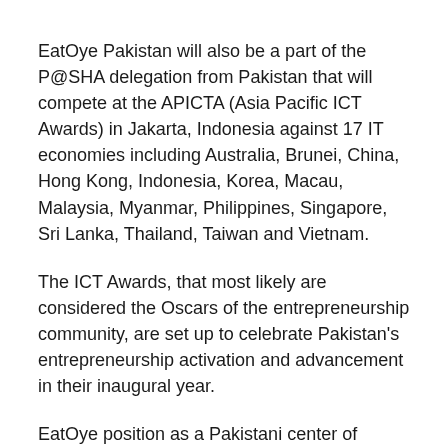EatOye Pakistan will also be a part of the P@SHA delegation from Pakistan that will compete at the APICTA (Asia Pacific ICT Awards) in Jakarta, Indonesia against 17 IT economies including Australia, Brunei, China, Hong Kong, Indonesia, Korea, Macau, Malaysia, Myanmar, Philippines, Singapore, Sri Lanka, Thailand, Taiwan and Vietnam.
The ICT Awards, that most likely are considered the Oscars of the entrepreneurship community, are set up to celebrate Pakistan's entrepreneurship activation and advancement in their inaugural year.
EatOye position as a Pakistani center of excellence for innovative startup businesses was long-established with several other mentions since beginning.